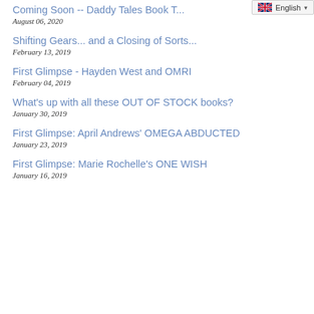Coming Soon -- Daddy Tales Book T...
August 06, 2020
Shifting Gears... and a Closing of Sorts...
February 13, 2019
First Glimpse - Hayden West and OMRI
February 04, 2019
What's up with all these OUT OF STOCK books?
January 30, 2019
First Glimpse: April Andrews' OMEGA ABDUCTED
January 23, 2019
First Glimpse: Marie Rochelle's ONE WISH
January 16, 2019